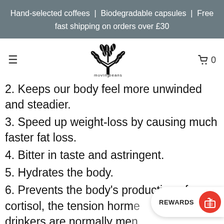Hand-selected coffees | Biodegradable capsules | Free fast shipping on orders over £30
[Figure (logo): Moving Beans logo: stylized tree made of coffee beans with text 'moving beans' below]
2. Keeps our body feel more unwinded and steadier.
3. Speed up weight-loss by causing much faster fat loss.
4. Bitter in taste and astringent.
5. Hydrates the body.
6. Prevents the body's production of cortisol, the tension hormone. Tea drinkers are normally me...